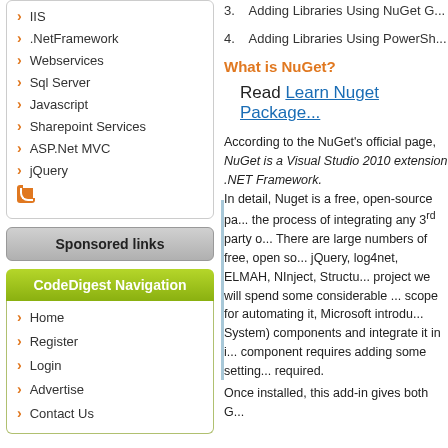IIS
.NetFramework
Webservices
Sql Server
Javascript
Sharepoint Services
ASP.Net MVC
jQuery
Sponsored links
CodeDigest Navigation
Home
Register
Login
Advertise
Contact Us
3.   Adding Libraries Using NuGet G...
4.   Adding Libraries Using PowerSh...
What is NuGet?
Read Learn Nuget Package...
According to the NuGet's official page, NuGet is a Visual Studio 2010 extension ... .NET Framework. In detail, Nuget is a free, open-source pa... the process of integrating any 3rd party o... There are large numbers of free, open so... jQuery, log4net, ELMAH, NInject, Structu... project we will spend some considerable ... scope for automating it, Microsoft introdu... System) components and integrate it in i... component requires adding some setting... required.
Once installed, this add-in gives both G...